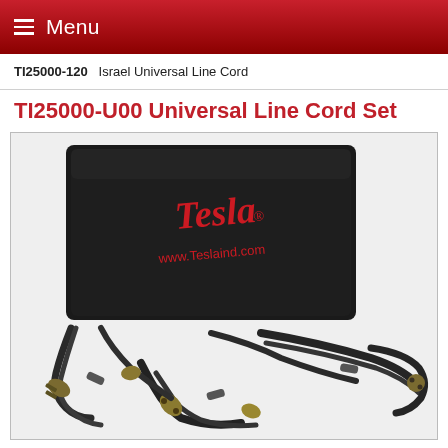Menu
TI25000-120   Israel Universal Line Cord
TI25000-U00 Universal Line Cord Set
[Figure (photo): Photo of a Tesla Industries Universal Line Cord Set (TI25000-U00), showing a black carrying pouch with red Tesla logo and www.Teslaind.com website, along with multiple electrical line cords with various international plug types bundled together.]